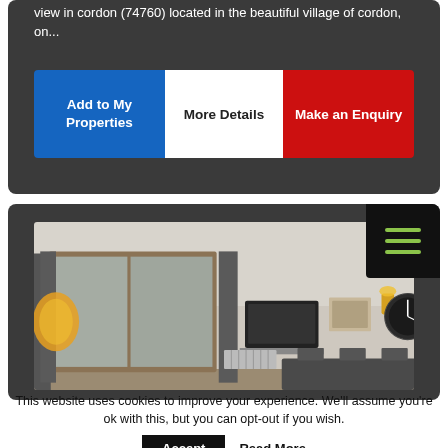view in cordon (74760) located in the beautiful village of cordon, on...
Add to My Properties
More Details
Make an Enquiry
[Figure (photo): Interior of an apartment living/dining room with white ceiling, wooden-framed balcony doors with curtains, wall-mounted TV, framed picture, wall lamp, decorative clock, and dining table with chairs]
This website uses cookies to improve your experience. We'll assume you're ok with this, but you can opt-out if you wish.
Accept
Read More